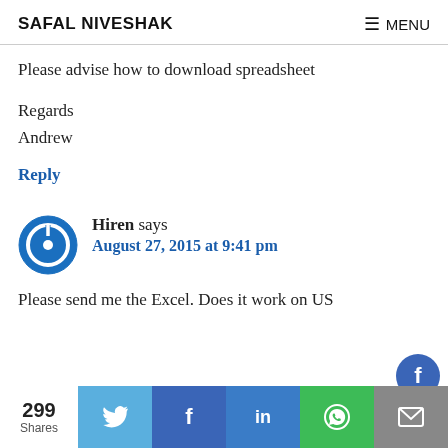SAFAL NIVESHAK   ☰ MENU
Please advise how to download spreadsheet
Regards
Andrew
Reply
Hiren says
August 27, 2015 at 9:41 pm
Please send me the Excel. Does it work on US